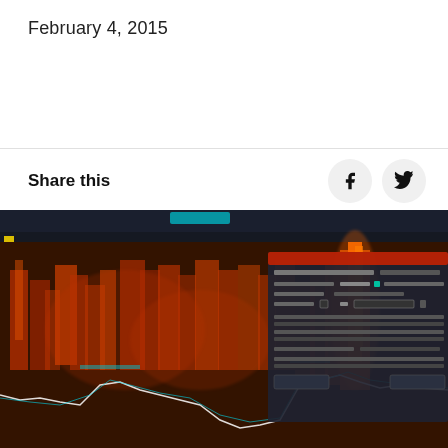February 4, 2015
Share this
[Figure (screenshot): A software interface showing a spectrogram/waterfall display with orange, red, and brown heatmap colors indicating signal intensity over frequency and time. A dark UI panel with settings and controls is visible in the upper right. A white line overlays the spectrogram representing a signal trace. Cyan/blue elements appear in the top toolbar and on the signal trace.]